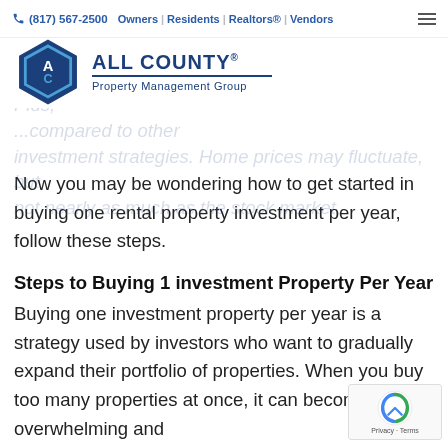(817) 567-2500 | Owners | Residents | Realtors® | Vendors
[Figure (logo): All County Property Management Group logo — blue hexagon with AC letters and company name]
benefits often in...
For e...allow you to generate passive income and earn tax benefits. Plus, ...compared to other investment strategies. Home prices may fluctuate, but not nearly as much as the stock market.
Now you may be wondering how to get started in buying one rental property investment per year, follow these steps.
Steps to Buying 1 investment Property Per Year
Buying one investment property per year is a strategy used by investors who want to gradually expand their portfolio of properties. When you buy too many properties at once, it can become overwhelming and